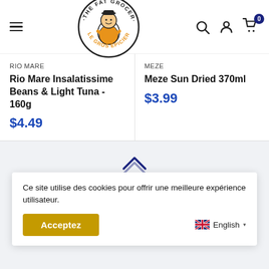[Figure (logo): The Fat Grocer / Le Gros Épicier circular logo with cartoon character]
RIO MARE
Rio Mare Insalatissime Beans & Light Tuna - 160g
$4.49
MEZE
Meze Sun Dried 370ml
$3.99
Ce site utilise des cookies pour offrir une meilleure expérience utilisateur.
Acceptez
English